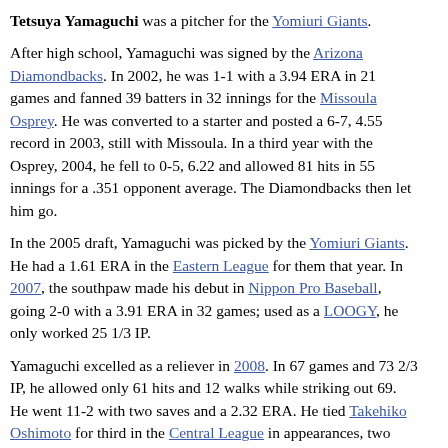Tetsuya Yamaguchi was a pitcher for the Yomiuri Giants.
After high school, Yamaguchi was signed by the Arizona Diamondbacks. In 2002, he was 1-1 with a 3.94 ERA in 21 games and fanned 39 batters in 32 innings for the Missoula Osprey. He was converted to a starter and posted a 6-7, 4.55 record in 2003, still with Missoula. In a third year with the Osprey, 2004, he fell to 0-5, 6.22 and allowed 81 hits in 55 innings for a .351 opponent average. The Diamondbacks then let him go.
In the 2005 draft, Yamaguchi was picked by the Yomiuri Giants. He had a 1.61 ERA in the Eastern League for them that year. In 2007, the southpaw made his debut in Nippon Pro Baseball, going 2-0 with a 3.91 ERA in 32 games; used as a LOOGY, he only worked 25 1/3 IP.
Yamaguchi excelled as a reliever in 2008. In 67 games and 73 2/3 IP, he allowed only 61 hits and 12 walks while striking out 69. He went 11-2 with two saves and a 2.32 ERA. He tied Takehiko Oshimoto for third in the Central League in appearances, two behind leader Tomoyuki Kubota. He also tied Tsuyoshi Shimoyanagi and Masahiro Yamamoto for 7th in victories and was 7th in save points. He won the 2008 Central League Rookie of the Year Award. Yamaguchi fanned 7 in 4 2/3 scoreless innings in the 2008 Japan Series but Yomiuri lost to the Seibu Lions.